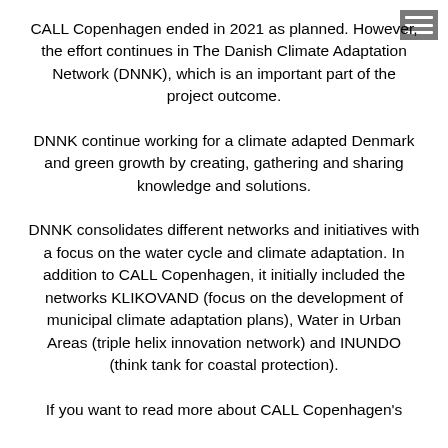CALL Copenhagen ended in 2021 as planned. However, the effort continues in The Danish Climate Adaptation Network (DNNK), which is an important part of the project outcome.
DNNK continue working for a climate adapted Denmark and green growth by creating, gathering and sharing knowledge and solutions.
DNNK consolidates different networks and initiatives with a focus on the water cycle and climate adaptation. In addition to CALL Copenhagen, it initially included the networks KLIKOVAND (focus on the development of municipal climate adaptation plans), Water in Urban Areas (triple helix innovation network) and INUNDO (think tank for coastal protection).
If you want to read more about CALL Copenhagen's